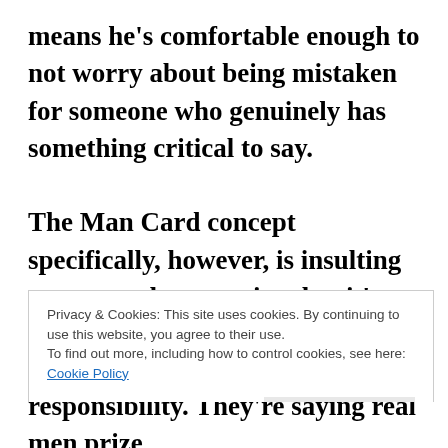means he's comfortable enough to not worry about being mistaken for someone who genuinely has something critical to say.
The Man Card concept specifically, however, is insulting to men and women in what it's saying about our respective roles. Men are supposed be this way, not that way. Do these things, not those things. You're not a man if you don't fit society's (or some section
Privacy & Cookies: This site uses cookies. By continuing to use this website, you agree to their use.
To find out more, including how to control cookies, see here: Cookie Policy
responsibility. They're saying real men prize